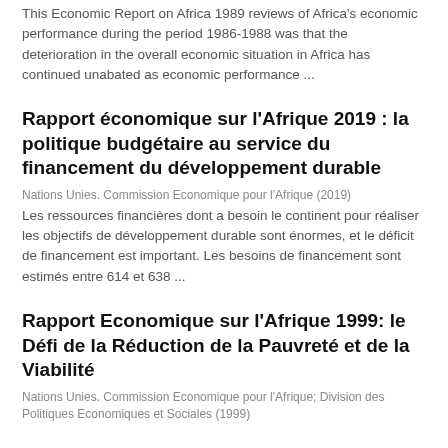This Economic Report on Africa 1989 reviews of Africa's economic performance during the period 1986-1988 was that the deterioration in the overall economic situation in Africa has continued unabated as economic performance ...
Rapport économique sur l'Afrique 2019 : la politique budgétaire au service du financement du développement durable
Nations Unies. Commission Economique pour l'Afrique (2019)
Les ressources financières dont a besoin le continent pour réaliser les objectifs de développement durable sont énormes, et le déficit de financement est important. Les besoins de financement sont estimés entre 614 et 638 ...
Rapport Economique sur l'Afrique 1999: le Défi de la Réduction de la Pauvreté et de la Viabilité
Nations Unies. Commission Economique pour l'Afrique; Division des Politiques Economiques et Sociales (1999)